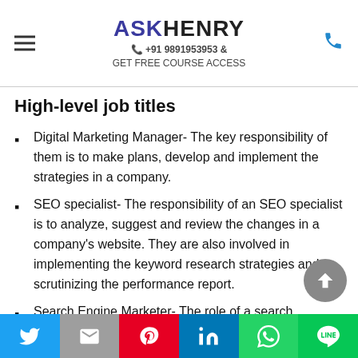ASKHENRY +91 9891953953 & GET FREE COURSE ACCESS
High-level job titles
Digital Marketing Manager- The key responsibility of them is to make plans, develop and implement the strategies in a company.
SEO specialist- The responsibility of an SEO specialist is to analyze, suggest and review the changes in a company's website. They are also involved in implementing the keyword research strategies and scrutinizing the performance report.
Search Engine Marketer- The role of a search